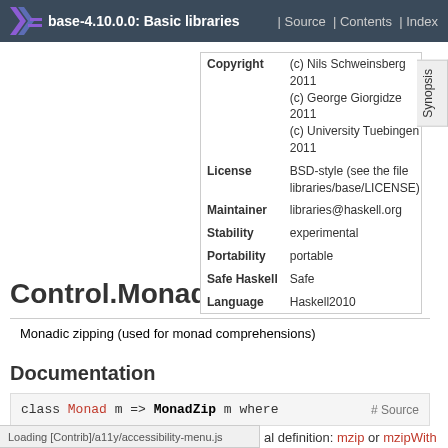base-4.10.0.0: Basic libraries | Source | Contents | Index
| Field | Value |
| --- | --- |
| Copyright | (c) Nils Schweinsberg 2011
(c) George Giorgidze 2011
(c) University Tuebingen 2011 |
| License | BSD-style (see the file libraries/base/LICENSE) |
| Maintainer | libraries@haskell.org |
| Stability | experimental |
| Portability | portable |
| Safe Haskell | Safe |
| Language | Haskell2010 |
Control.Monad.Zip
Monadic zipping (used for monad comprehensions)
Documentation
class Monad m => MonadZip m where   # Source
Loading [Contrib]/a11y/accessibility-menu.js
al definition: mzip or mzipWith